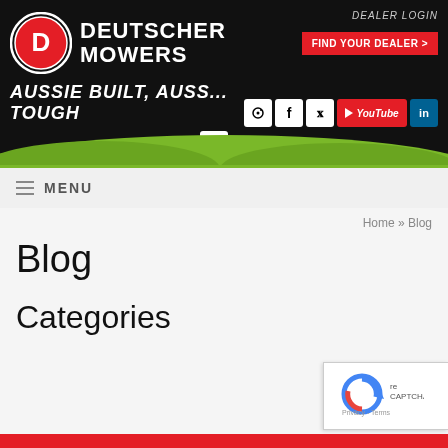[Figure (screenshot): Deutscher Mowers website header with logo, navigation, social media icons, and blog page content showing breadcrumb, Blog title, and Categories section]
DEALER LOGIN
DEUTSCHER MOWERS
FIND YOUR DEALER >
AUSSIE BUILT, AUSS... TOUGH
MENU
Home » Blog
Blog
Categories